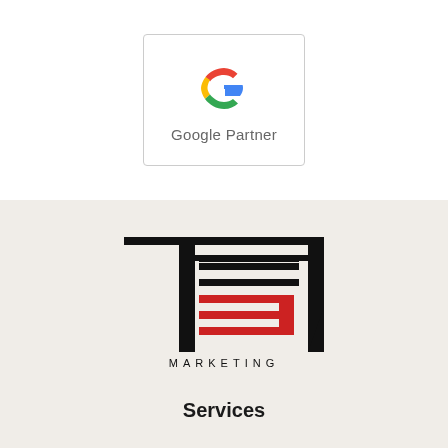[Figure (logo): Google Partner badge with Google 'G' logo in red, blue, yellow, green and text 'Google Partner' below]
[Figure (logo): Ten31 Marketing logo with stylized T, E, N, 3, 1 letters in black and red with MARKETING text below]
Services